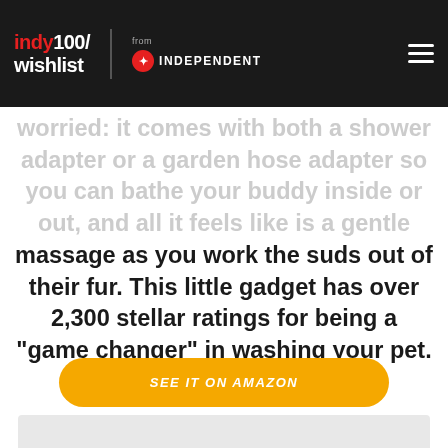indy100/ wishlist from INDEPENDENT
worried: it comes with both a shower adapter or a garden hose adapter so you can bathe your buddy inside or out, and all it feels like is a gentle massage as you work the suds out of their fur. This little gadget has over 2,300 stellar ratings for being a "game changer" in washing your pet.
SEE IT ON AMAZON
[Figure (photo): Gray image placeholder area at bottom of page]